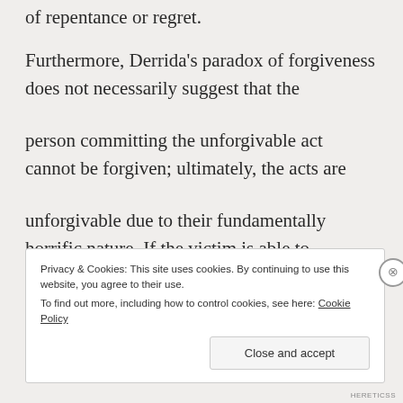of repentance or regret.
Furthermore, Derrida's paradox of forgiveness does not necessarily suggest that the
person committing the unforgivable act cannot be forgiven; ultimately, the acts are
unforgivable due to their fundamentally horrific nature. If the victim is able to
Privacy & Cookies: This site uses cookies. By continuing to use this website, you agree to their use.
To find out more, including how to control cookies, see here: Cookie Policy
HERETICSS